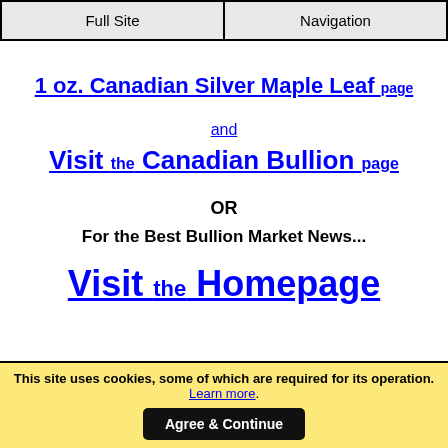Full Site | Navigation
1 oz. Canadian Silver Maple Leaf page
and
Visit the Canadian Bullion page
OR
For the Best Bullion Market News...
Visit the Homepage
This site uses cookies, some of which are required for its operation. Learn more. Agree & Continue